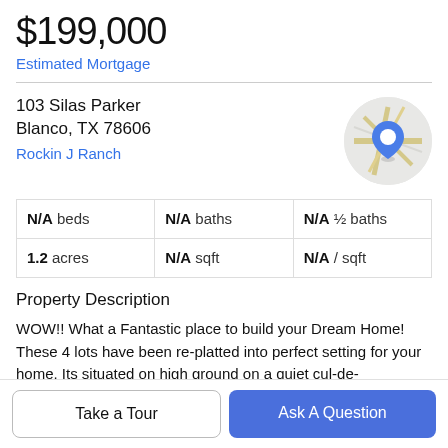$199,000
Estimated Mortgage
103 Silas Parker
Blanco, TX 78606
Rockin J Ranch
[Figure (map): Circular map thumbnail showing street map with blue location pin marker]
| N/A beds | N/A baths | N/A ½ baths |
| 1.2 acres | N/A sqft | N/A / sqft |
Property Description
WOW!! What a Fantastic place to build your Dream Home! These 4 lots have been re-platted into perfect setting for your home. Its situated on high ground on a quiet cul-de-
Take a Tour
Ask A Question